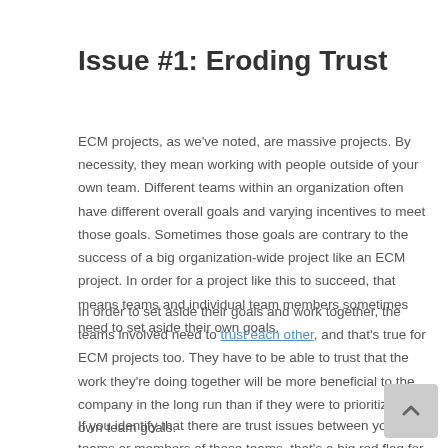Issue #1: Eroding Trust
ECM projects, as we've noted, are massive projects. By necessity, they mean working with people outside of your own team. Different teams within an organization often have different overall goals and varying incentives to meet those goals. Sometimes those goals are contrary to the success of a big organization-wide project like an ECM project. In order for a project like this to succeed, that means teams and individual team members sometimes need to set aside their own goals.
In order to set aside their goals and work together, the teams involved need to trust each other, and that's true for ECM projects too. They have to be able to trust that the work they're doing together will be more beneficial to the company in the long run than if they were to prioritize their own team goals.
If you identify that there are trust issues between your teams or members of those teams, that's a big red flag for your project. It means that those teams, when stressed, do what's in their best